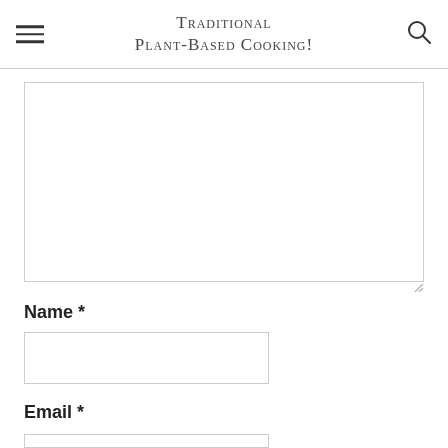Traditional Plant-Based Cooking!
Name *
Email *